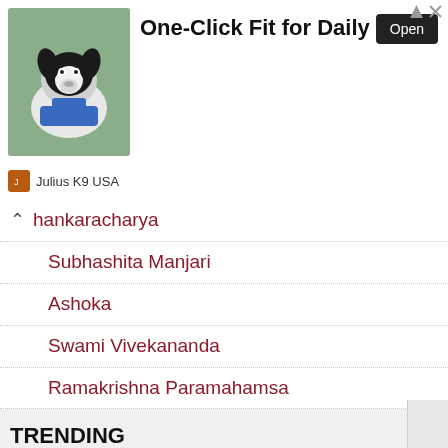[Figure (screenshot): Advertisement banner for Julius K9 USA showing a dog wearing a blue harness, headline 'One-Click Fit for Daily Use', Open button, and brand logo]
Shankaracharya
Subhashita Manjari
Ashoka
Swami Vivekananda
Ramakrishna Paramahamsa
TRENDING
The Talmud
I Ching
John Augustus Shedd
Hafez
Inuit Proverb
Jean-Jacques Rousseau
Cosimo de' Medici
Mother Teresa